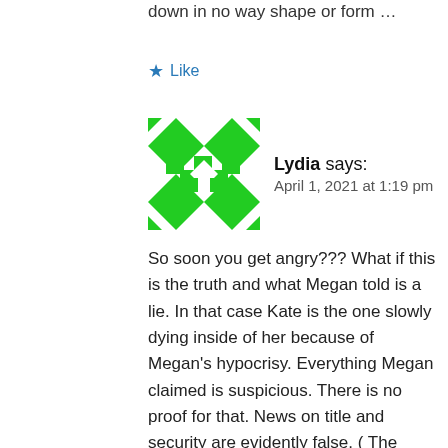down in no way shape or form …
★ Like
Lydia says:
April 1, 2021 at 1:19 pm
So soon you get angry??? What if this is the truth and what Megan told is a lie. In that case Kate is the one slowly dying inside of her because of Megan's hypocrisy. Everything Megan claimed is suspicious. There is no proof for that. News on title and security are evidently false. ( The entire world knows only the next in line will get titles and security too won't be given if they refuse to work as Royals). So if you want Megan's truth to be heard and supported then even Kate's truth should also to be heard. It takes real guts for someone to talk on somebody's behalf. Specially a truth for po